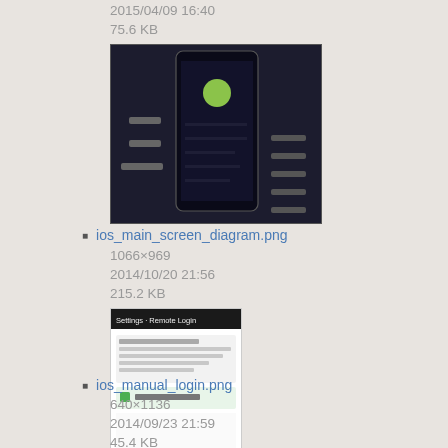2015/04/09 16:40
75.6 KB
[Figure (screenshot): Thumbnail of ios_main_screen_diagram.png showing a dark mobile app UI with a green dot and menu items]
ios_main_screen_diagram.png
1066×969
2014/10/20 21:56
215.2 KB
[Figure (screenshot): Thumbnail of ios_manual_login.png showing a white mobile screen with login form and green checkbox]
ios_manual_login.png
640×1136
2014/09/23 21:59
45.4 KB
[Figure (screenshot): Thumbnail showing a dark grey icon with a map/navigation symbol (bookmark/map outline in white)]